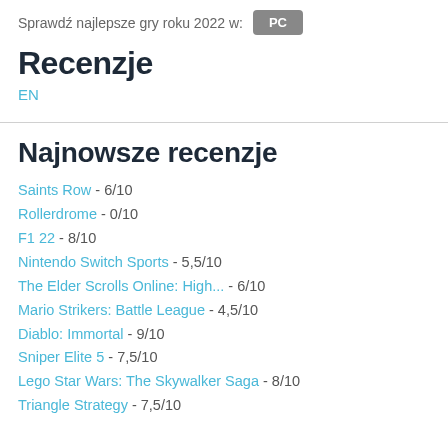Sprawdź najlepsze gry roku 2022 w: PC
Recenzje
EN
Najnowsze recenzje
Saints Row - 6/10
Rollerdrome - 0/10
F1 22 - 8/10
Nintendo Switch Sports - 5,5/10
The Elder Scrolls Online: High... - 6/10
Mario Strikers: Battle League - 4,5/10
Diablo: Immortal - 9/10
Sniper Elite 5 - 7,5/10
Lego Star Wars: The Skywalker Saga - 8/10
Triangle Strategy - 7,5/10